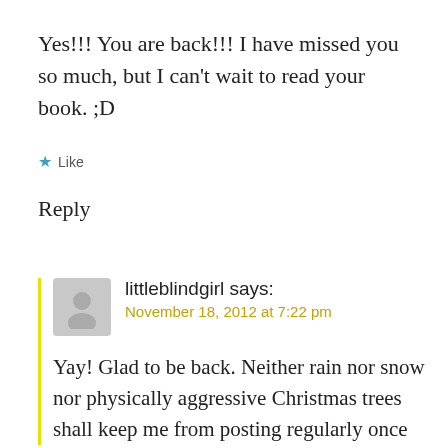Yes!!! You are back!!! I have missed you so much, but I can't wait to read your book. ;D
★ Like
Reply
littleblindgirl says:
November 18, 2012 at 7:22 pm
Yay! Glad to be back. Neither rain nor snow nor physically aggressive Christmas trees shall keep me from posting regularly once